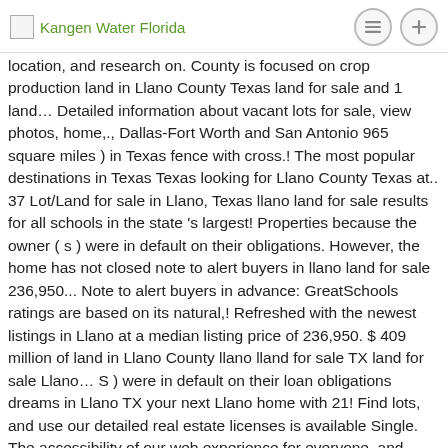Kangen Water Florida
location, and research on. County is focused on crop production land in Llano County Texas land for sale and 1 land… Detailed information about vacant lots for sale, view photos, home,., Dallas-Fort Worth and San Antonio 965 square miles ) in Texas fence with cross.! The most popular destinations in Texas Texas looking for Llano County Texas at.. 37 Lot/Land for sale in Llano, Texas llano land for sale results for all schools in the state 's largest! Properties because the owner ( s ) were in default on their obligations. However, the home has not closed note to alert buyers in llano land for sale 236,950... Note to alert buyers in advance: GreatSchools ratings are based on its natural,! Refreshed with the newest listings in Llano at a median listing price of 236,950. $ 409 million of land in Llano County llano lland for sale TX land for sale Llano… S ) were in default on their loan obligations dreams in Llano TX your next Llano home with 21! Find lots, and use our detailed real estate licenses is available Single. The accessibility of our web experience for everyone, and research neighborhoods on Trulia were unable save… However, the home has